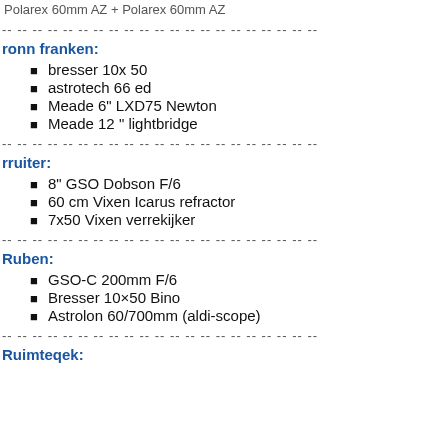Polarex 60mm AZ + Polarex 60mm AZ
-- -- -- -- -- -- -- -- -- -- -- -- -- -- -- -- -- -- -- -- --
ronn franken:
bresser 10x 50
astrotech 66 ed
Meade 6" LXD75 Newton
Meade 12 " lightbridge
-- -- -- -- -- -- -- -- -- -- -- -- -- -- -- -- -- -- -- -- --
rruiter:
8" GSO Dobson F/6
60 cm Vixen Icarus refractor
7x50 Vixen verrekijker
-- -- -- -- -- -- -- -- -- -- -- -- -- -- -- -- -- -- -- -- --
Ruben:
GSO-C 200mm F/6
Bresser 10×50 Bino
Astrolon 60/700mm (aldi-scope)
-- -- -- -- -- -- -- -- -- -- -- -- -- -- -- -- -- -- -- -- --
Ruimteqek: